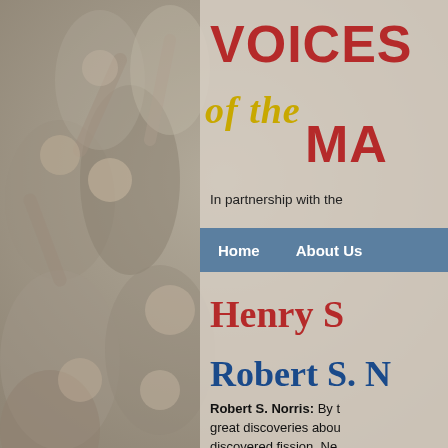[Figure (photo): Black and white vintage photo of a crowd of young people, many with arms raised, smiling and celebrating, used as background image.]
VOICES of the MA
In partnership with the  (text cut off)
Home   About Us
Henry S(text cut off)
Robert S. N(text cut off)
Robert S. Norris: By t(text cut off) great discoveries abou(text cut off) discovered fission  Ne(text cut off)